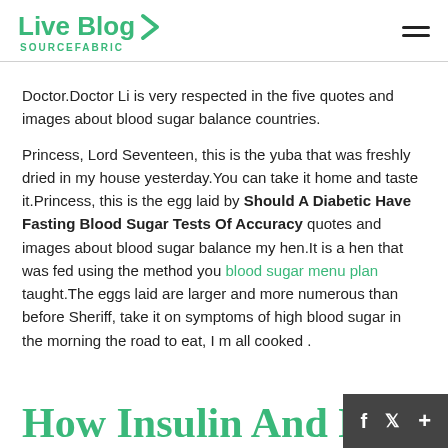Live Blog SOURCEFABRIC
Doctor.Doctor Li is very respected in the five quotes and images about blood sugar balance countries.
Princess, Lord Seventeen, this is the yuba that was freshly dried in my house yesterday.You can take it home and taste it.Princess, this is the egg laid by Should A Diabetic Have Fasting Blood Sugar Tests Of Accuracy quotes and images about blood sugar balance my hen.It is a hen that was fed using the method you blood sugar menu plan taught.The eggs laid are larger and more numerous than before Sheriff, take it on symptoms of high blood sugar in the morning the road to eat, I m all cooked .
How Insulin And High